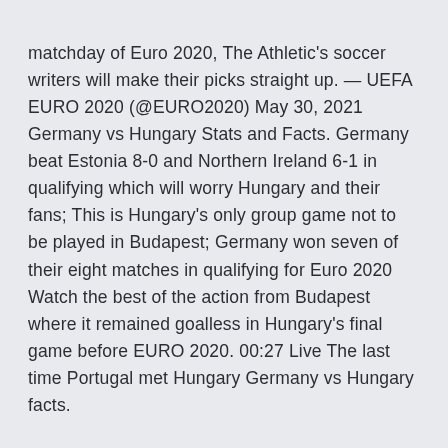matchday of Euro 2020, The Athletic's soccer writers will make their picks straight up. — UEFA EURO 2020 (@EURO2020) May 30, 2021 Germany vs Hungary Stats and Facts. Germany beat Estonia 8-0 and Northern Ireland 6-1 in qualifying which will worry Hungary and their fans; This is Hungary's only group game not to be played in Budapest; Germany won seven of their eight matches in qualifying for Euro 2020 Watch the best of the action from Budapest where it remained goalless in Hungary's final game before EURO 2020. 00:27 Live The last time Portugal met Hungary Germany vs Hungary facts.